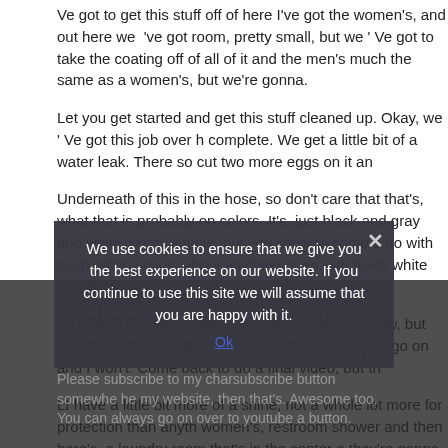Ve got to get this stuff off of here I've got the women's, and out here we 've got room, pretty small, but we ' Ve got to take the coating off of all of it and the men's much the same as a women's, but we're gonna.
Let you get started and get this stuff cleaned up. Okay, we ' Ve got this job over h complete. We get a little bit of a water leak. There so cut two more eggs on it an
Underneath of this in the hose, so don't care that that's, what that is probably on colors. It's, just black and gray and white, pretty simple, but you know to come a go with each other, so just about anything goes with black white and Reina, but i
All sealed up. We've got one coat of sealer out now, but I'm going to take this vid second coat. It's. Gon na go on and I won't. Come back to do a final video, but th
LI have a little bit more of a shine, not a whole lot more for protection than anyth women's, restroom shower and then here's, a laundry room that's in the center of they're gonna be putting shrim back up on baseboard.
We want to vary both. You know the walls prepping the walls so much on this on everywhere, which we didn't a little bit here and there, but it's all about an inch o
So the baseboards going to cover like that here's, an interesting showers. Every you guys are checking this out on YouTube, you, like my videos, and you will see
Please subscribe to my char subscribe button somewhere h my website, then that's. Awesome too. You can always go on over to youtube a button.
We use cookies to ensure that we give you the best experience on our website. If you continue to use this site we will assume that you are happy with it.
Ok